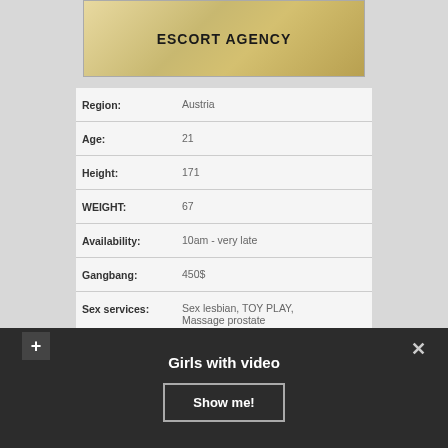[Figure (photo): Banner image with golden/yellow background and text 'ESCORT AGENCY']
| Region: | Austria |
| Age: | 21 |
| Height: | 171 |
| WEIGHT: | 67 |
| Availability: | 10am - very late |
| Gangbang: | 450$ |
| Sex services: | Sex lesbian, TOY PLAY, Massage prostate |
| Nationality: | Czech |
Girls with video
Show me!